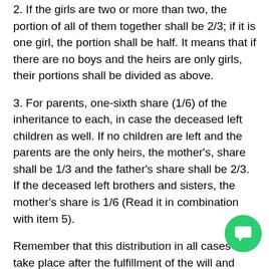2. If the girls are two or more than two, the portion of all of them together shall be 2/3; if it is one girl, the portion shall be half. It means that if there are no boys and the heirs are only girls, their portions shall be divided as above.
3. For parents, one-sixth share (1/6) of the inheritance to each, in case the deceased left children as well. If no children are left and the parents are the only heirs, the mother's, share shall be 1/3 and the father's share shall be 2/3. If the deceased left brothers and sisters, the mother's share is 1/6 (Read it in combination with item 5).
Remember that this distribution in all cases shall take place after the fulfillment of the will and payment of debts against the deceased. If the will